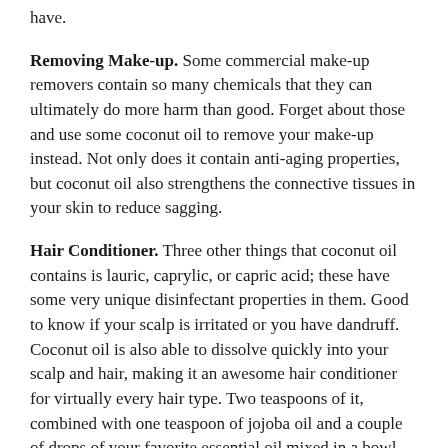have.
Removing Make-up. Some commercial make-up removers contain so many chemicals that they can ultimately do more harm than good. Forget about those and use some coconut oil to remove your make-up instead. Not only does it contain anti-aging properties, but coconut oil also strengthens the connective tissues in your skin to reduce sagging.
Hair Conditioner. Three other things that coconut oil contains is lauric, caprylic, or capric acid; these have some very unique disinfectant properties in them. Good to know if your scalp is irritated or you have dandruff. Coconut oil is also able to dissolve quickly into your scalp and hair, making it an awesome hair conditioner for virtually every hair type. Two teaspoons of it, combined with one teaspoon of jojoba oil and a couple of drops of your favorite essential oil mixed in a bowl and you're all set. (For a deep-conditioning treatment, put on a plastic cap and sit under a hooded dryer for 15-20 minutes. Then rinse in cool water.)
Energizer. Are you someone who can't imagine starting your